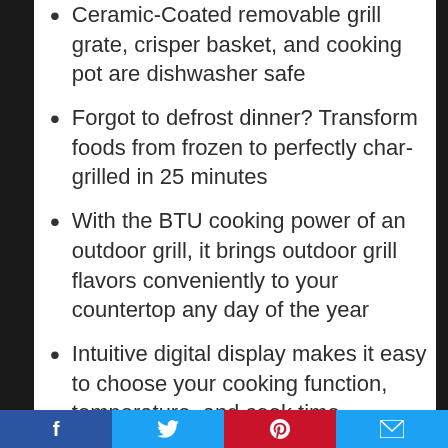Ceramic-Coated removable grill grate, crisper basket, and cooking pot are dishwasher safe
Forgot to defrost dinner? Transform foods from frozen to perfectly char-grilled in 25 minutes
With the BTU cooking power of an outdoor grill, it brings outdoor grill flavors conveniently to your countertop any day of the year
Intuitive digital display makes it easy to choose your cooking function, temperature, and cook time
The Ninja Foodi Grill cooks your